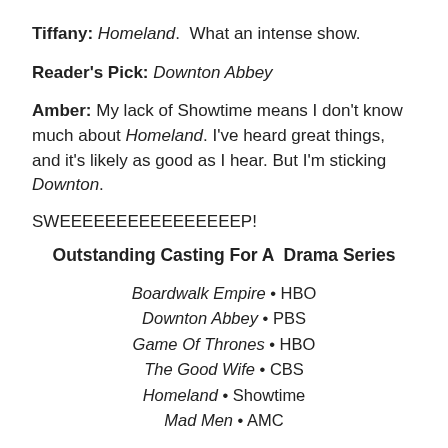Tiffany: Homeland. What an intense show.
Reader's Pick: Downton Abbey
Amber: My lack of Showtime means I don't know much about Homeland. I've heard great things, and it's likely as good as I hear. But I'm sticking Downton.
SWEEEEEEEEEEEEEEEEP!
Outstanding Casting For A Drama Series
Boardwalk Empire • HBO
Downton Abbey • PBS
Game Of Thrones • HBO
The Good Wife • CBS
Homeland • Showtime
Mad Men • AMC